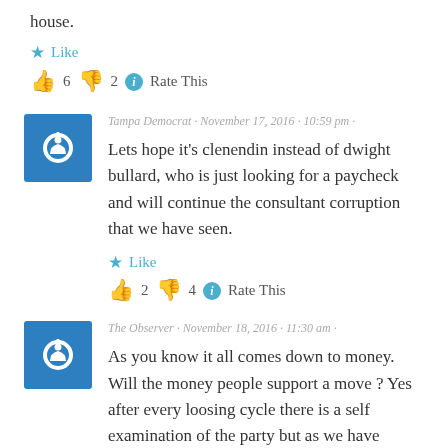house.
★ Like
👍 6 👎 2 ℹ Rate This
Tampa Democrat · November 17, 2016 · 10:59 pm ·
Lets hope it's clenendin instead of dwight bullard, who is just looking for a paycheck and will continue the consultant corruption that we have seen.
★ Like
👍 2 👎 4 ℹ Rate This
The Observer · November 18, 2016 · 11:30 am ·
As you know it all comes down to money. Will the money people support a move ? Yes after every loosing cycle there is a self examination of the party but as we have